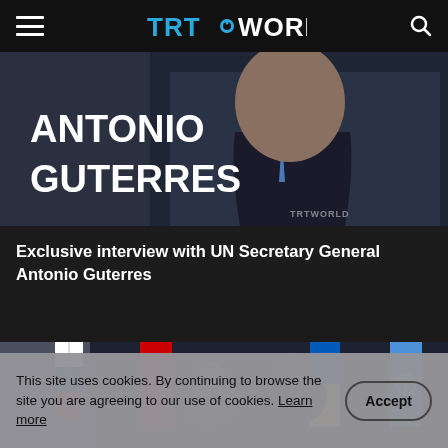TRT WORLD
[Figure (photo): Photo of Antonio Guterres, UN Secretary General, with his name displayed in large white bold text on the lower left of the image. TRTWorld watermark visible.]
Exclusive interview with UN Secretary General Antonio Guterres
[Figure (photo): Photo showing multiple people including a speaker at a podium, with flags of Russia, Turkey, Ukraine, and the United Nations in the background.]
This site uses cookies. By continuing to browse the site you are agreeing to our use of cookies. Learn more